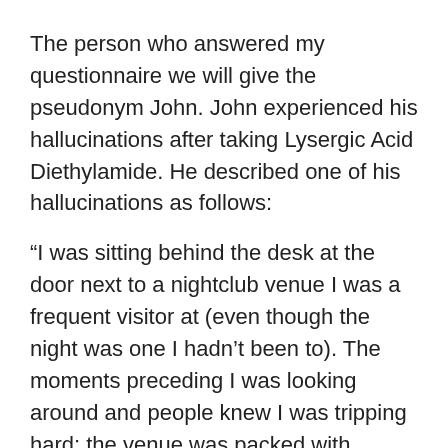The person who answered my questionnaire we will give the pseudonym John. John experienced his hallucinations after taking Lysergic Acid Diethylamide. He described one of his hallucinations as follows:
“I was sitting behind the desk at the door next to a nightclub venue I was a frequent visitor at (even though the night was one I hadn’t been to). The moments preceding I was looking around and people knew I was tripping hard; the venue was packed with people I knew well as a DJ and people kept coming over to check on me/marvel, mostly because it was my first trip and I was up and down a lot. I turned around and noticed that there were embossed raised patterns moving over the walls which matched the colour of the walls but had shadows and light qualities that made them look very solid and